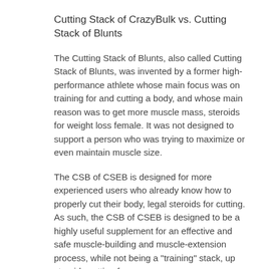Cutting Stack of CrazyBulk vs. Cutting Stack of Blunts
The Cutting Stack of Blunts, also called Cutting Stack of Blunts, was invented by a former high-performance athlete whose main focus was on training for and cutting a body, and whose main reason was to get more muscle mass, steroids for weight loss female. It was not designed to support a person who was trying to maximize or even maintain muscle size.
The CSB of CSEB is designed for more experienced users who already know how to properly cut their body, legal steroids for cutting. As such, the CSB of CSEB is designed to be a highly useful supplement for an effective and safe muscle-building and muscle-extension process, while not being a "training" stack, up steroids cutting for.